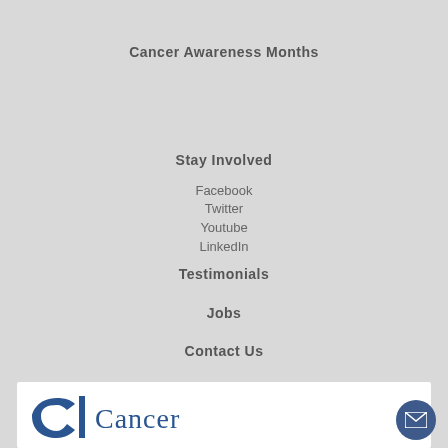Cancer Awareness Months
Stay Involved
Facebook
Twitter
Youtube
LinkedIn
Testimonials
Jobs
Contact Us
[Figure (logo): Cancer organization logo with stylized C and the word Cancer in blue serif font on white background]
[Figure (other): Dark blue circular email button with envelope icon in bottom right corner]